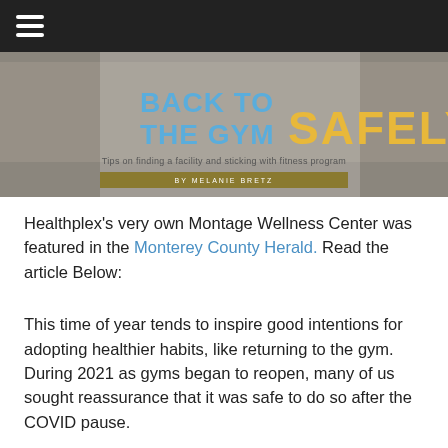≡ (hamburger menu)
[Figure (illustration): Article header image: gym background photo with text 'BACK TO THE GYM SAFELY' — 'BACK TO THE GYM' in blue bold font, 'SAFELY' in large gold/yellow bold font. Subtitle: 'Tips on finding a facility and sticking with fitness program'. Byline: 'BY MELANIE BRETZ' on a dark gold ribbon banner.]
Healthplex's very own Montage Wellness Center was featured in the Monterey County Herald. Read the article Below:
This time of year tends to inspire good intentions for adopting healthier habits, like returning to the gym. During 2021 as gyms began to reopen, many of us sought reassurance that it was safe to do so after the COVID pause.